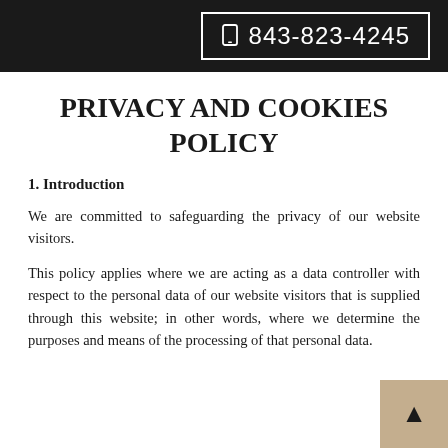843-823-4245
PRIVACY AND COOKIES POLICY
1. Introduction
We are committed to safeguarding the privacy of our website visitors.
This policy applies where we are acting as a data controller with respect to the personal data of our website visitors that is supplied through this website; in other words, where we determine the purposes and means of the processing of that personal data.